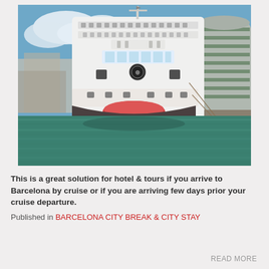[Figure (photo): Front bow of a large white cruise ship docked at a port with green water in the foreground, blue sky with clouds above, and a modern curved building visible to the right.]
This is a great solution for hotel & tours if you arrive to Barcelona by cruise or if you are arriving few days prior your cruise departure.
Published in BARCELONA CITY BREAK & CITY STAY
READ MORE